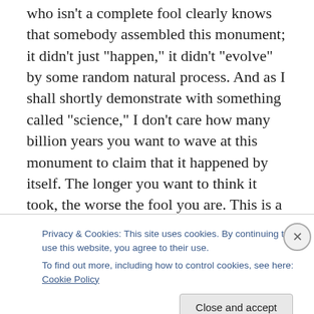who isn't a complete fool clearly knows that somebody assembled this monument; it didn't just “happen,” it didn't “evolve” by some random natural process.  And as I shall shortly demonstrate with something called “science,” I don't care how many billion years you want to wave at this monument to claim that it happened by itself.  The longer you want to think it took, the worse the fool you are.  This is a one-to-one, apples-to-apples, direct comparison: the rock pile did not happen by random, chaotic chance, everyone knows, because it is simply too complex of a structure to have happened all by
Privacy & Cookies: This site uses cookies. By continuing to use this website, you agree to their use.
To find out more, including how to control cookies, see here: Cookie Policy